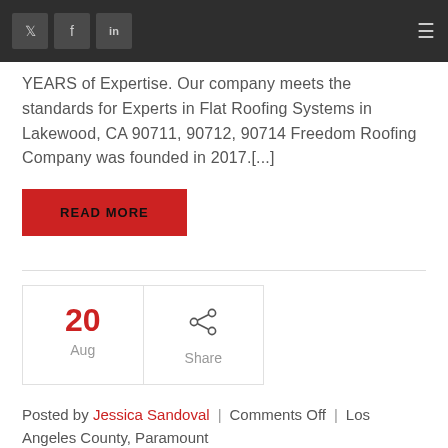Twitter | Facebook | LinkedIn | Menu
YEARS of Expertise. Our company meets the standards for Experts in Flat Roofing Systems in Lakewood, CA 90711, 90712, 90714 Freedom Roofing Company was founded in 2017.[...]
READ MORE
| Date | Share |
| --- | --- |
| 20 Aug | Share |
Posted by Jessica Sandoval | Comments Off | Los Angeles County, Paramount